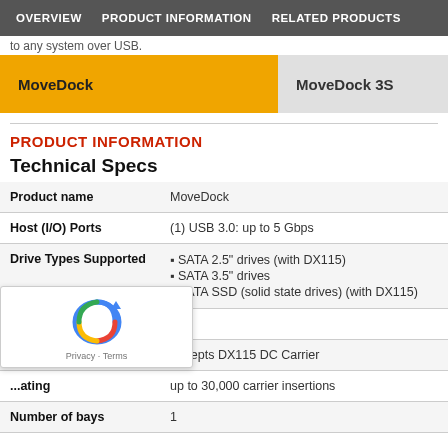OVERVIEW   PRODUCT INFORMATION   RELATED PRODUCTS
to any system over USB.
MoveDock (active tab)   MoveDock 3S
PRODUCT INFORMATION
Technical Specs
| Field | Value |
| --- | --- |
| Product name | MoveDock |
| Host (I/O) Ports | (1) USB 3.0: up to 5 Gbps |
| Drive Types Supported | SATA 2.5" drives (with DX115)
SATA 3.5" drives
SATA SSD (solid state drives) (with DX115) |
| SATA Speed | 3G |
|  | Accepts DX115 DC Carrier |
| ...ating | up to 30,000 carrier insertions |
| Number of bays | 1 |